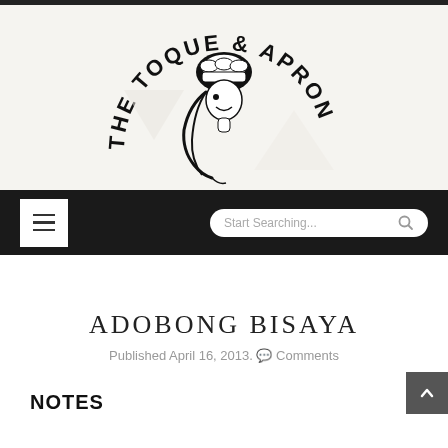[Figure (logo): The Toque & Apron logo: circular text reading 'THE TOQUE & APRON' with a chef's hat and female figure illustration in black and white, on a light beige background]
[Figure (screenshot): Black navigation bar with a white hamburger menu button (three horizontal lines) on the left and a rounded white search box labeled 'Start Searching...' with a magnifier icon on the right]
ADOBONG BISAYA
Published April 16, 2013. Comments
NOTES